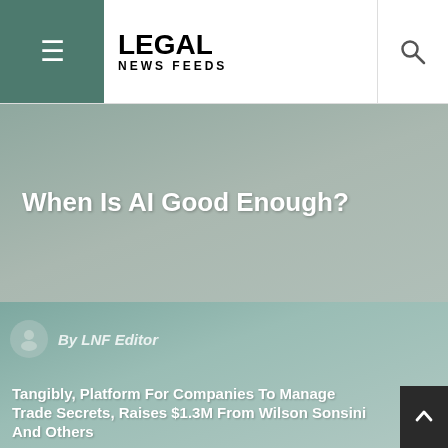LEGAL NEWS FEEDS
When Is AI Good Enough?
By LNF Editor
Tangibly, Platform For Companies To Manage Trade Secrets, Raises $1.3M From Wilson Sonsini And Others